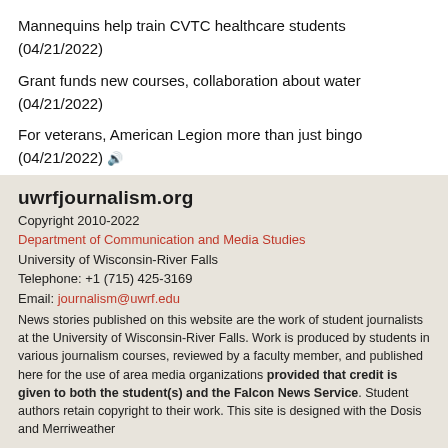Mannequins help train CVTC healthcare students (04/21/2022)
Grant funds new courses, collaboration about water (04/21/2022)
For veterans, American Legion more than just bingo (04/21/2022) 🔊
Local lawmakers differ on spending state surplus (03/23/2022)
Goats may someday reduce riverside brush at UWRF (03/22/2022)
Applicants sought for 2022 Rasmussen Fellowship (03/21/2022)
Obesity documentary earns top award from WBA (03/05/2022)
More from Falcon News Service »
uwrfjournalism.org
Copyright 2010-2022
Department of Communication and Media Studies
University of Wisconsin-River Falls
Telephone: +1 (715) 425-3169
Email: journalism@uwrf.edu
News stories published on this website are the work of student journalists at the University of Wisconsin-River Falls. Work is produced by students in various journalism courses, reviewed by a faculty member, and published here for the use of area media organizations provided that credit is given to both the student(s) and the Falcon News Service. Student authors retain copyright to their work. This site is designed with the Dosis and Merriweather